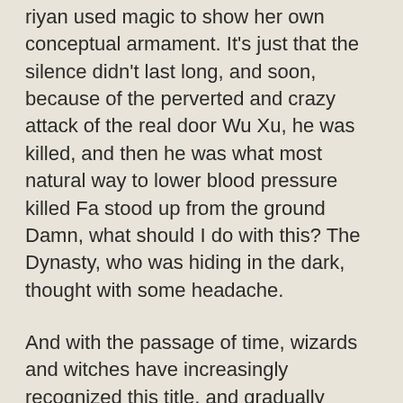riyan used magic to show her own conceptual armament. It's just that the silence didn't last long, and soon, because of the perverted and crazy attack of the real door Wu Xu, he was killed, and then he was what most natural way to lower blood pressure killed Fa stood up from the ground Damn, what should I do with this? The Dynasty, who was hiding in the dark, thought with some headache.
And with the passage of time, wizards and witches have increasingly recognized this title, and gradually separated themselves from the group of magicians, and developed their own unique'power system' with the changes of society for example? Dynasty asked curiously After all, compared with the price they paid and the price they might have to pay when the repayment date came, the money they could get with a little effort was really nothing to cherish and care about In this case, and before you